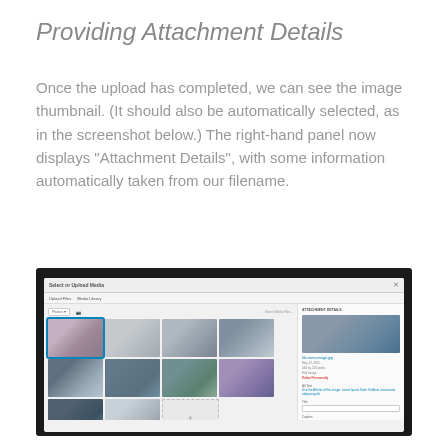Providing Attachment Details
Once the upload has completed, we can see the image thumbnail. (It should also be automatically selected, as in the screenshot below.) The right-hand panel now displays “Attachment Details”, with some information automatically taken from our filename.
[Figure (screenshot): Screenshot of WordPress media library dialog showing 'Select or Upload Media' modal with a grid of landscape/nature photo thumbnails on the left and an 'Attachment Details' panel on the right displaying metadata fields for the selected image.]